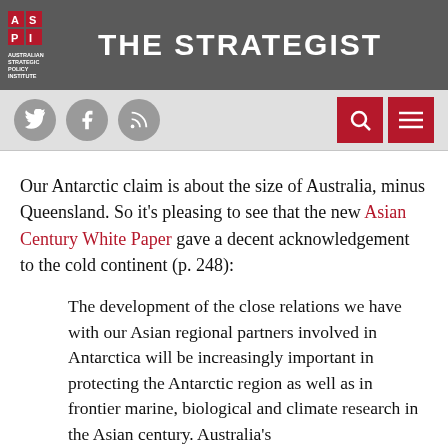THE STRATEGIST — Australian Strategic Policy Institute
Our Antarctic claim is about the size of Australia, minus Queensland. So it's pleasing to see that the new Asian Century White Paper gave a decent acknowledgement to the cold continent (p. 248):
The development of the close relations we have with our Asian regional partners involved in Antarctica will be increasingly important in protecting the Antarctic region as well as in frontier marine, biological and climate research in the Asian century. Australia's scientific excellence and her competitive intellectual...